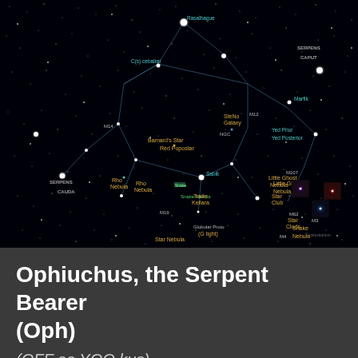[Figure (illustration): Star map of the constellation Ophiuchus (the Serpent Bearer) showing stars connected by lines, labeled deep-sky objects including nebulae, galaxies and clusters, with surrounding constellation names (Serpens Caput, Serpens Cauda) on a black starfield background.]
Ophiuchus, the Serpent Bearer (Oph)
(OFF ee YOO kus)